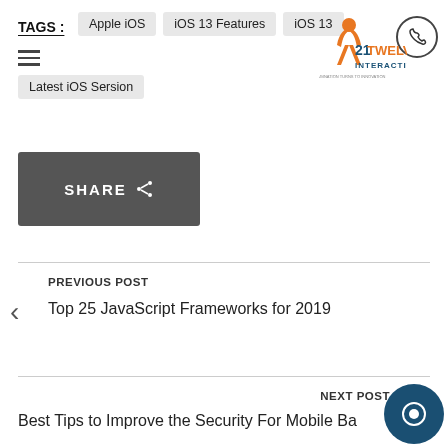TAGS : Apple iOS  iOS 13 Features  iOS 13  Latest iOS Sersion
[Figure (logo): 21Twelve Interactive logo with orange figure and blue/orange text]
SHARE
PREVIOUS POST
Top 25 JavaScript Frameworks for 2019
NEXT POST
Best Tips to Improve the Security For Mobile Ba...